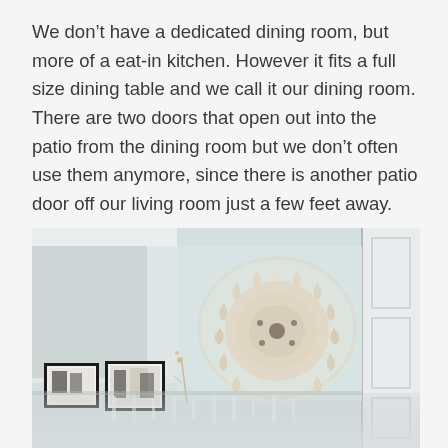We don't have a dedicated dining room, but more of a eat-in kitchen. However it fits a full size dining table and we call it our dining room. There are two doors that open out into the patio from the dining room but we don't often use them anymore, since there is another patio door off our living room just a few feet away.
[Figure (photo): Interior room photo showing a light blue/mint wall, a white door frame on the right, a large fluffy cream-colored feather wreath or juju hat hanging on the wall in the center, and two black-framed wall art pieces on the lower left. The bottom portion shows a blurred chandelier or light fixture.]